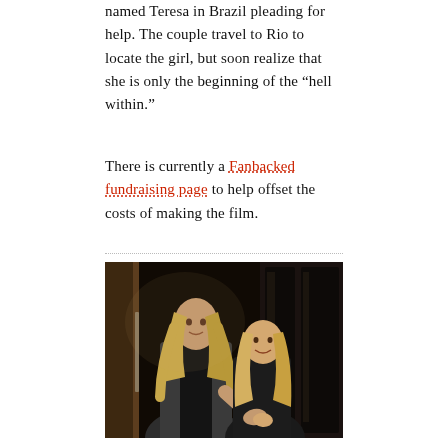named Teresa in Brazil pleading for help. The couple travel to Rio to locate the girl, but soon realize that she is only the beginning of the “hell within.”
There is currently a Fanbacked fundraising page to help offset the costs of making the film.
[Figure (photo): A man with long blonde hair wearing a dark blazer and a woman with long blonde hair wearing a dark top, standing together indoors near glass doors, holding hands.]